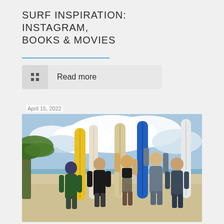SURF INSPIRATION: INSTAGRAM, BOOKS & MOVIES
Read more
April 15, 2022
[Figure (photo): Five women posing on a beach with surfboards (yellow, white/cream, beige, blue, and white with pattern) standing upright next to them. Palm trees visible on the left, ocean and cloudy sky in the background. Sandy beach scene.]